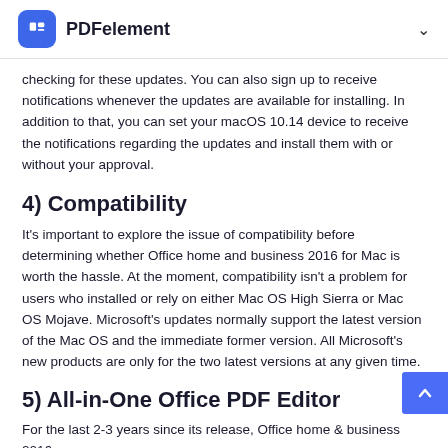PDFelement
checking for these updates. You can also sign up to receive notifications whenever the updates are available for installing. In addition to that, you can set your macOS 10.14 device to receive the notifications regarding the updates and install them with or without your approval.
4) Compatibility
It's important to explore the issue of compatibility before determining whether Office home and business 2016 for Mac is worth the hassle. At the moment, compatibility isn't a problem for users who installed or rely on either Mac OS High Sierra or Mac OS Mojave. Microsoft's updates normally support the latest version of the Mac OS and the immediate former version. All Microsoft's new products are only for the two latest versions at any given time.
5) All-in-One Office PDF Editor
For the last 2-3 years since its release, Office home & business 2016